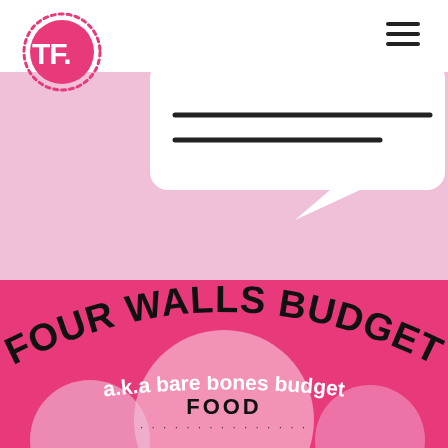[Figure (logo): TF. logo in pink dotted circle, top left]
[Figure (illustration): White speech bubble on light pink background, bottom right corner]
FOUR WALLS BUDGET a.k.a bare bones budget
FOOD